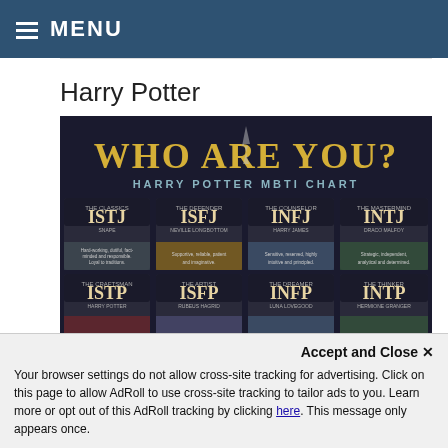MENU
Harry Potter
[Figure (infographic): Harry Potter MBTI Chart infographic titled 'WHO ARE YOU? HARRY POTTER MBTI CHART' showing various Harry Potter characters matched to MBTI personality types including ISTJ, ISFJ, INFJ, INTJ, ISTP, ISFP, INFP, INTP]
Your browser settings do not allow cross-site tracking for advertising. Click on this page to allow AdRoll to use cross-site tracking to tailor ads to you. Learn more or opt out of this AdRoll tracking by clicking here. This message only appears once.